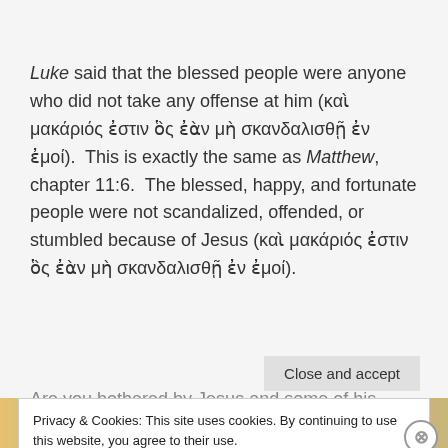Luke said that the blessed people were anyone who did not take any offense at him (καὶ μακάριός ἐστιν ὃς ἐὰν μὴ σκανδαλισθῇ ἐν ἐμοί).  This is exactly the same as Matthew, chapter 11:6.  The blessed, happy, and fortunate people were not scandalized, offended, or stumbled because of Jesus (καὶ μακάριός ἐστιν ὃς ἐὰν μὴ σκανδαλισθῇ ἐν ἐμοί).
Privacy & Cookies: This site uses cookies. By continuing to use this website, you agree to their use.
To find out more, including how to control cookies, see here: Cookie Policy
Close and accept